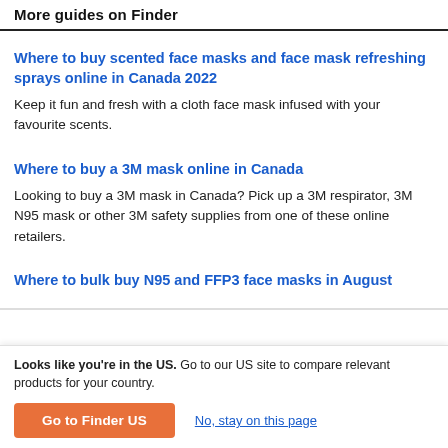More guides on Finder
Where to buy scented face masks and face mask refreshing sprays online in Canada 2022
Keep it fun and fresh with a cloth face mask infused with your favourite scents.
Where to buy a 3M mask online in Canada
Looking to buy a 3M mask in Canada? Pick up a 3M respirator, 3M N95 mask or other 3M safety supplies from one of these online retailers.
Where to bulk buy N95 and FFP3 face masks in August
Looks like you're in the US. Go to our US site to compare relevant products for your country.
Go to Finder US
No, stay on this page